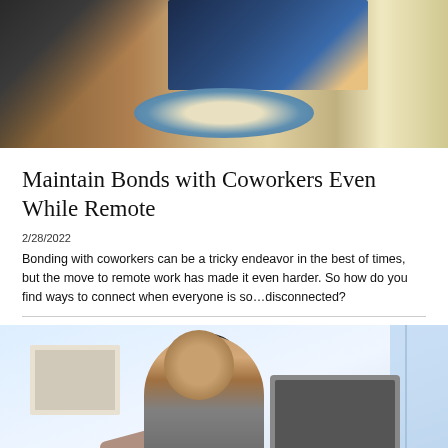[Figure (photo): Person at a table with a laptop open showing a video call, and a blue bowl of chips/snacks in the foreground on a wooden surface]
Maintain Bonds with Coworkers Even While Remote
2/28/2022
Bonding with coworkers can be a tricky endeavor in the best of times, but the move to remote work has made it even harder. So how do you find ways to connect when everyone is so…disconnected?
[Figure (photo): A smiling man wearing a red tie and button-up shirt sitting at a desk with a monitor, appearing to receive something from someone off-frame, in a bright office environment]